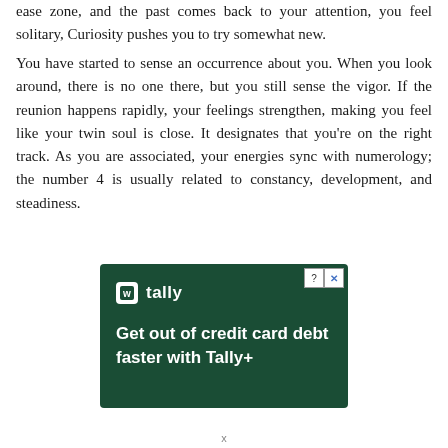ease zone, and the past comes back to your attention, you feel solitary, Curiosity pushes you to try somewhat new.
You have started to sense an occurrence about you. When you look around, there is no one there, but you still sense the vigor. If the reunion happens rapidly, your feelings strengthen, making you feel like your twin soul is close. It designates that you're on the right track. As you are associated, your energies sync with numerology; the number 4 is usually related to constancy, development, and steadiness.
[Figure (other): Advertisement for Tally: dark green background with Tally logo and text 'Get out of credit card debt faster with Tally+'. Has close/help buttons in top right corner.]
x